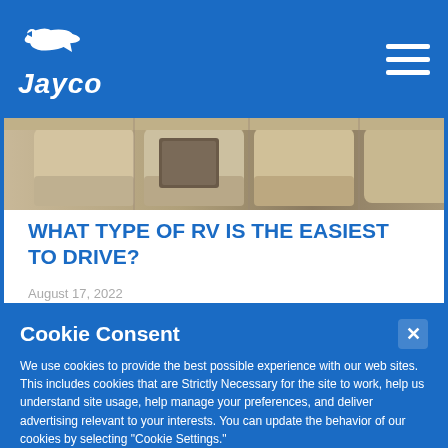Jayco
[Figure (photo): RV interior showing cream/beige leather seating and wood paneling]
WHAT TYPE OF RV IS THE EASIEST TO DRIVE?
August 17, 2022
Cookie Consent
We use cookies to provide the best possible experience with our web sites. This includes cookies that are Strictly Necessary for the site to work, help us understand site usage, help manage your preferences, and deliver advertising relevant to your interests. You can update the behavior of our cookies by selecting "Cookie Settings."
Cookie Settings    Accept Cookies